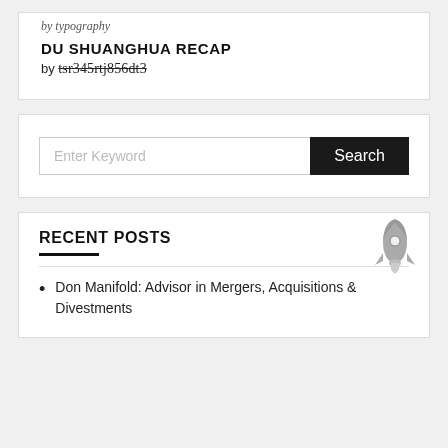DU SHUANGHUA RECAP
by tsr345rtj856dt3
Enter Keyword
Search
RECENT POSTS
Don Manifold: Advisor in Mergers, Acquisitions & Divestments